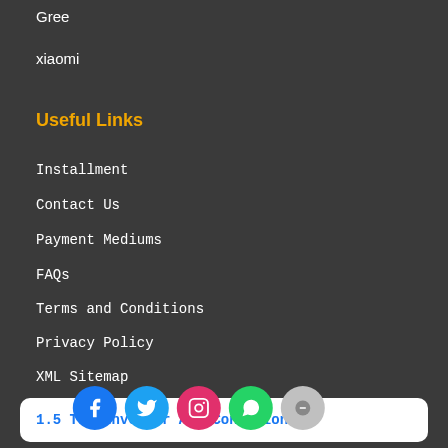Gree
xiaomi
Useful Links
Installment
Contact Us
Payment Mediums
FAQs
Terms and Conditions
Privacy Policy
XML Sitemap
Tags
1.5 Ton Inverter Air Conditioners